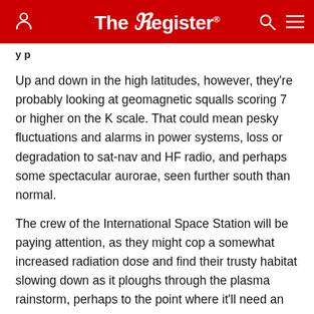The Register
Up and down in the high latitudes, however, they're probably looking at geomagnetic squalls scoring 7 or higher on the K scale. That could mean pesky fluctuations and alarms in power systems, loss or degradation to sat-nav and HF radio, and perhaps some spectacular aurorae, seen further south than normal.
The crew of the International Space Station will be paying attention, as they might cop a somewhat increased radiation dose and find their trusty habitat slowing down as it ploughs through the plasma rainstorm, perhaps to the point where it'll need an expensive extra blast or two on the rocket motors of attached supply modules to maintain orbit. It may pick